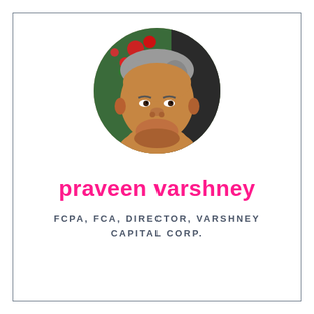[Figure (photo): Circular cropped headshot photo of Praveen Varshney, a middle-aged man with grey hair, wearing no shirt visible, with red flowers and green foliage in background.]
praveen varshney
FCPA, FCA, DIRECTOR, VARSHNEY CAPITAL CORP.